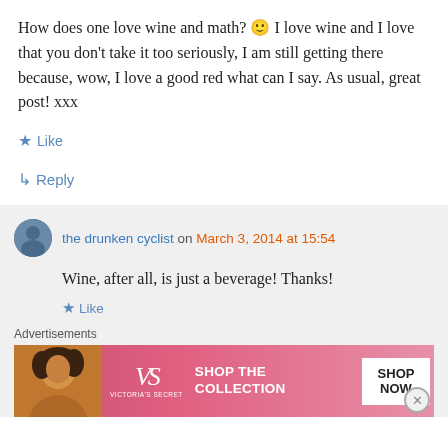How does one love wine and math? 🙂 I love wine and I love that you don't take it too seriously, I am still getting there because, wow, I love a good red what can I say. As usual, great post! xxx
★ Like
↳ Reply
the drunken cyclist on March 3, 2014 at 15:54
Wine, after all, is just a beverage! Thanks!
★ Like
Advertisements
[Figure (other): Victoria's Secret advertisement banner with 'SHOP THE COLLECTION' and 'SHOP NOW' button on a pink background with a model photo]